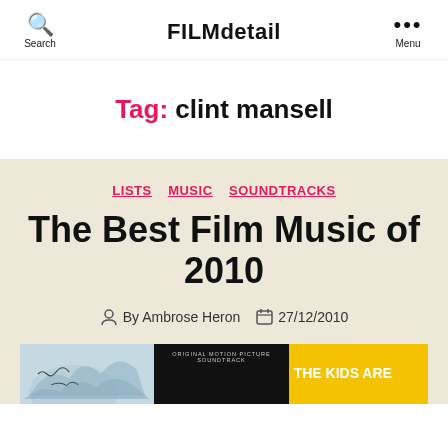Search  FILMdetail  Menu
Tag: clint mansell
LISTS  MUSIC  SOUNDTRACKS
The Best Film Music of 2010
By Ambrose Heron  27/12/2010
[Figure (screenshot): Three thumbnail images at the bottom of the page]